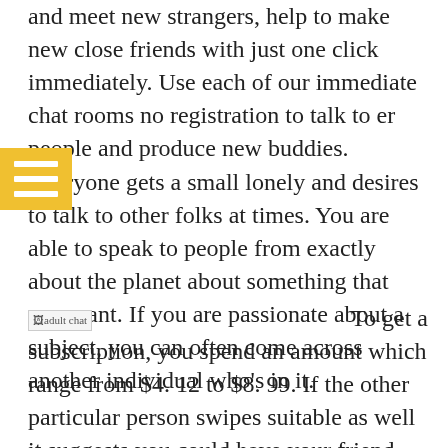and meet new strangers, help to make new close friends with just one click immediately. Use each of our immediate chat rooms no registration to talk to er people and produce new buddies. Everyone gets a small lonely and desires to talk to other folks at times. You are able to speak to people from exactly about the planet about something that you want. If you are passionate about a subject, you can often come across another individual who’s in it.
[Figure (other): Broken image placeholder labeled 'adult chat']
To get a subscription, you spend an amount which range from $4. 12 to $8. 99. If the other particular person swipes suitable as well it suggests you could have your friend presently and you can slip into each other’s DMs to sext chat. In addition , your individual name as well as the message will not show to the similar web page so